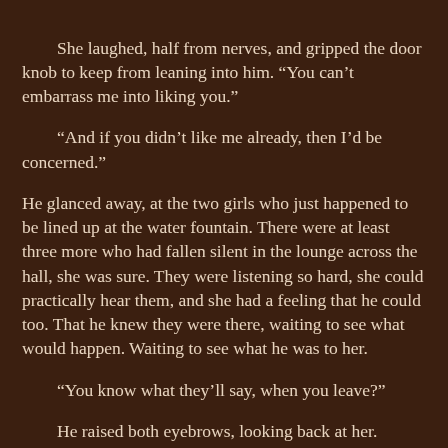She laughed, half from nerves, and gripped the door knob to keep from leaning into him. “You can’t embarrass me into liking you.”
“And if you didn’t like me already, then I’d be concerned.”
He glanced away, at the two girls who just happened to be lined up at the water fountain. There were at least three more who had fallen silent in the lounge across the hall, she was sure. They were listening so hard, she could practically hear them, and she had a feeling that he could too. That he knew they were there, waiting to see what would happen. Waiting to see what he was to her.
“You know what they’ll say, when you leave?”
He raised both eyebrows, looking back at her. “What will they say?”